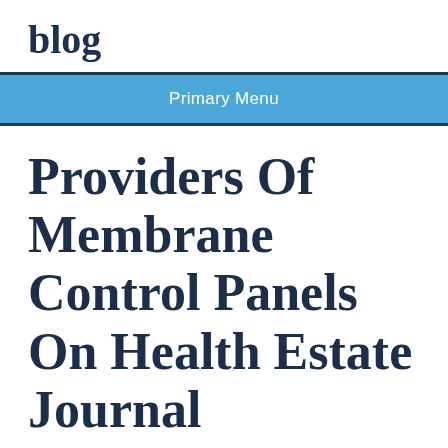blog
Primary Menu
Providers Of Membrane Control Panels On Health Estate Journal
June 15, 2022    Lucille Hill